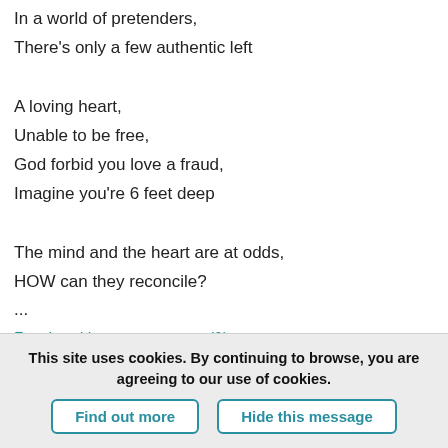In a world of pretenders,
There’s only a few authentic left
A loving heart,
Unable to be free,
God forbid you love a fraud,
Imagine you’re 6 feet deep
The mind and the heart are at odds,
HOW can they reconcile?
...
Read and leave comments (0)
This site uses cookies. By continuing to browse, you are agreeing to our use of cookies.
Find out more
Hide this message